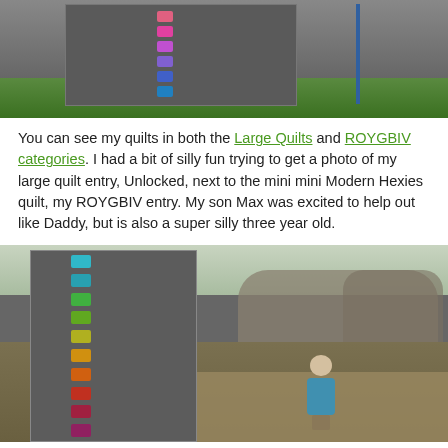[Figure (photo): Outdoor photo of a large gray quilt displayed outside on grass, featuring a vertical rainbow-colored strip of hexagonal shapes on it.]
You can see my quilts in both the Large Quilts and ROYGBIV categories. I had a bit of silly fun trying to get a photo of my large quilt entry, Unlocked, next to the mini mini Modern Hexies quilt, my ROYGBIV entry. My son Max was excited to help out like Daddy, but is also a super silly three year old.
[Figure (photo): Outdoor photo of a large gray quilt displayed outside with a vertical strip of rainbow-colored hexagonal shapes, and a young boy (Max) standing in front of it holding something white.]